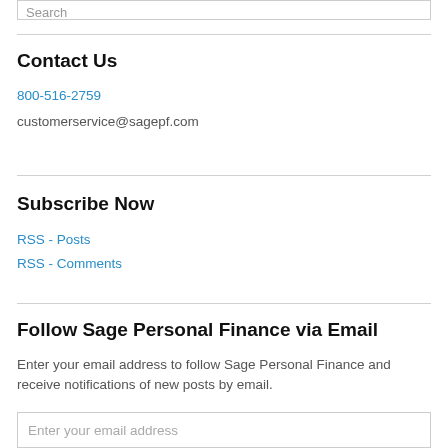Search
Contact Us
800-516-2759
customerservice@sagepf.com
Subscribe Now
RSS - Posts
RSS - Comments
Follow Sage Personal Finance via Email
Enter your email address to follow Sage Personal Finance and receive notifications of new posts by email.
Enter your email address